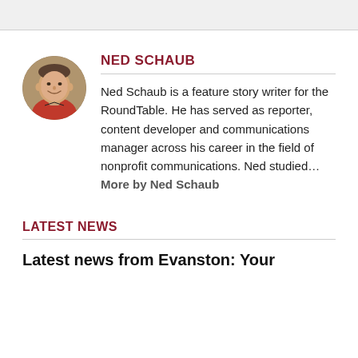[Figure (photo): Circular profile photo of Ned Schaub, a man smiling, wearing a red top, set against a blurred background.]
NED SCHAUB
Ned Schaub is a feature story writer for the RoundTable. He has served as reporter, content developer and communications manager across his career in the field of nonprofit communications. Ned studied… More by Ned Schaub
LATEST NEWS
Latest news from Evanston: Your